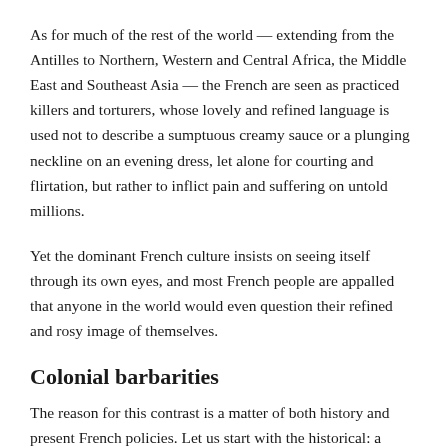As for much of the rest of the world — extending from the Antilles to Northern, Western and Central Africa, the Middle East and Southeast Asia — the French are seen as practiced killers and torturers, whose lovely and refined language is used not to describe a sumptuous creamy sauce or a plunging neckline on an evening dress, let alone for courting and flirtation, but rather to inflict pain and suffering on untold millions.
Yet the dominant French culture insists on seeing itself through its own eyes, and most French people are appalled that anyone in the world would even question their refined and rosy image of themselves.
Colonial barbarities
The reason for this contrast is a matter of both history and present French policies. Let us start with the historical: a